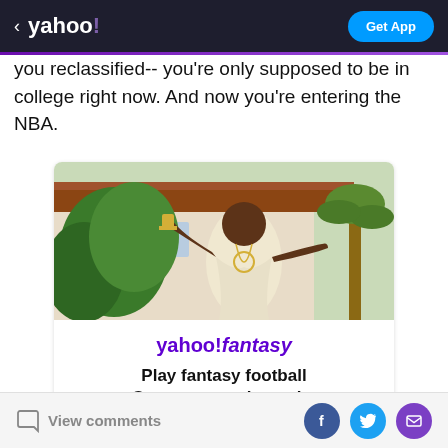< yahoo! | Get App
you reclassified-- you're only supposed to be in college right now. And now you're entering the NBA.
[Figure (infographic): Yahoo! Fantasy advertisement with image of a man in white jacket posing outdoors, with yahoo!fantasy logo, 'Play fantasy football Get your people on the free and easy fantasy app' text, and a 'Create a league' button]
View comments
[Figure (infographic): Social sharing icons: Facebook, Twitter, Email]